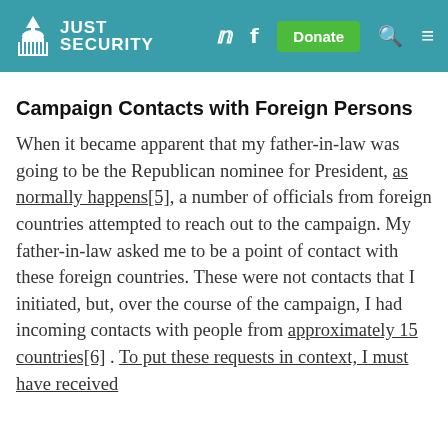JUST SECURITY
Campaign Contacts with Foreign Persons
When it became apparent that my father-in-law was going to be the Republican nominee for President, as normally happens[5], a number of officials from foreign countries attempted to reach out to the campaign. My father-in-law asked me to be a point of contact with these foreign countries. These were not contacts that I initiated, but, over the course of the campaign, I had incoming contacts with people from approximately 15 countries[6] . To put these requests in context, I must have received